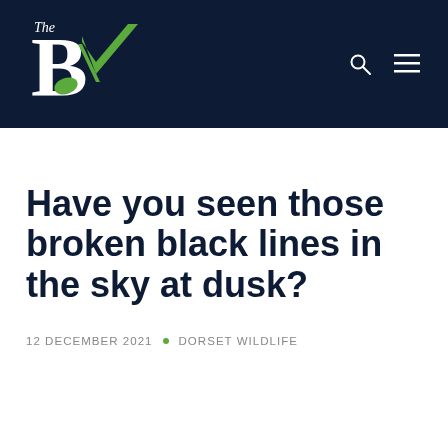[Figure (logo): The BV logo on dark navy background with search and menu icons]
Have you seen those broken black lines in the sky at dusk?
12 DECEMBER 2021 • DORSET WILDLIFE